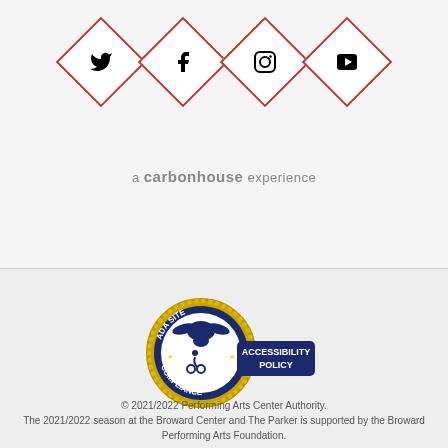[Figure (illustration): Four social media icons (Twitter, Facebook, Instagram, YouTube) each inside a red diamond-shaped border on a light gray background]
a carbonhouse experience
[Figure (logo): ADA Site Compliance badge with circular rope border, eagle and wheelchair icon, gold stars, navy blue background, and 'ACCESSIBILITY POLICY' banner]
© 2021/2022 Performing Arts Center Authority. The 2021/2022 season at the Broward Center and The Parker is supported by the Broward Performing Arts Foundation.